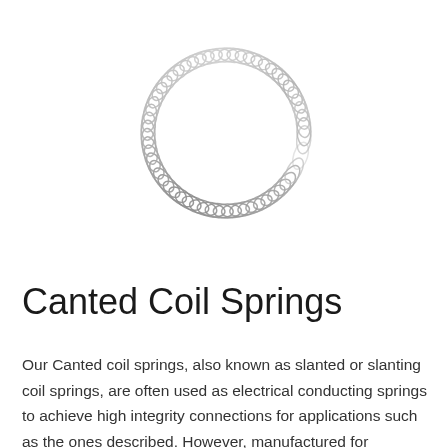[Figure (illustration): A canted coil spring (slanted coil spring) arranged in a circular/toroidal shape. The spring is made of metallic wire with many individual coils tilted at an angle, forming a ring shape. The coils are silver/chrome colored and densely packed.]
Canted Coil Springs
Our Canted coil springs, also known as slanted or slanting coil springs, are often used as electrical conducting springs to achieve high integrity connections for applications such as the ones described. However, manufactured for automotive...